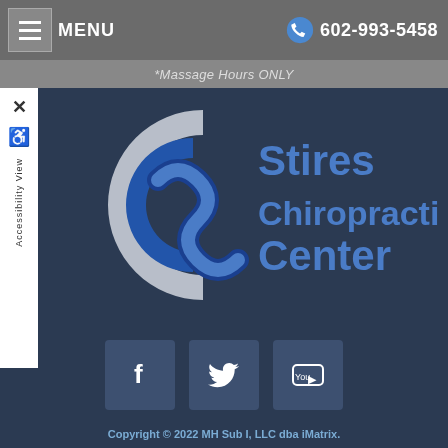MENU  602-993-5458  *Massage Hours ONLY
[Figure (logo): Stires Chiropractic Center logo with stylized C and S letterforms in blue and white on dark navy background]
[Figure (infographic): Social media icons: Facebook (f), Twitter (bird), YouTube (play button)]
Copyright © 2022 MH Sub I, LLC dba iMatrix.
Admin Log In